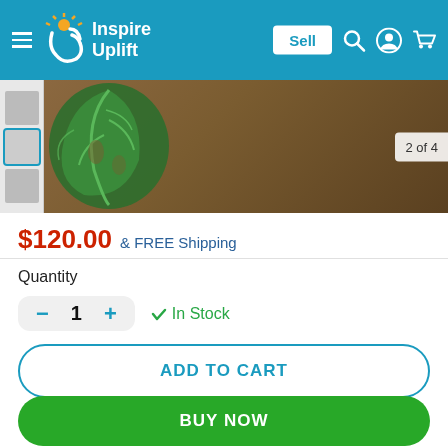[Figure (screenshot): Inspire Uplift e-commerce website header with logo, hamburger menu, Sell button, search icon, user icon, and cart icon on a teal/blue background]
[Figure (photo): Product image showing a monstera plant leaf against a brown/wooden background. Thumbnail strip on left side. Badge showing '2 of 4' on right edge.]
$120.00  & FREE Shipping
Quantity
1  ✓ In Stock
ADD TO CART
BUY NOW
Other people want this. 18 people have this in their